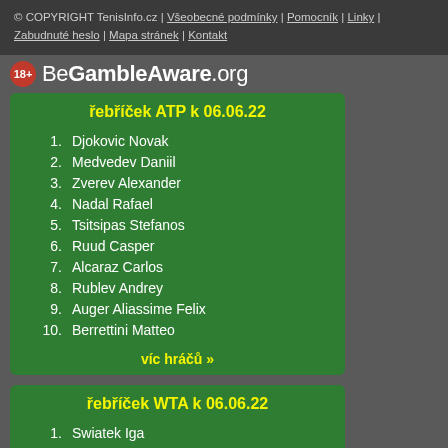© COPYRIGHT TenisInfo.cz | Všeobecné podmínky | Pomocník | Linky | Zabudnuté heslo | Mapa stránek | Kontakt
[Figure (logo): BeGambleAware.org logo with 18+ badge]
řebříček ATP k 06.06.22
1. Djokovic Novak
2. Medvedev Daniil
3. Zverev Alexander
4. Nadal Rafael
5. Tsitsipas Stefanos
6. Ruud Casper
7. Alcaraz Carlos
8. Rublev Andrey
9. Auger Aliassime Felix
10. Berrettini Matteo
víc hráčů »
řebříček WTA k 06.06.22
1. Swiatek Iga
2. Kontaveit Anett
3. Badosa Paula
4. Jabeur Ons
5. Sakkari Maria